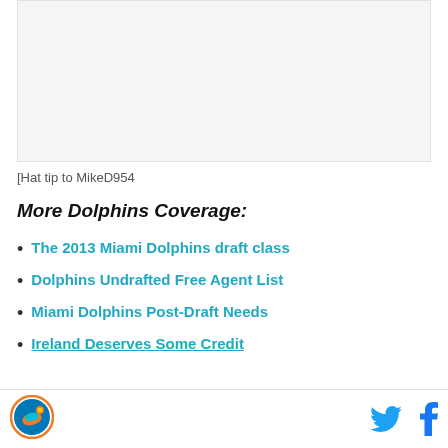[Figure (other): Image placeholder area at top of page]
[Hat tip to MikeD954
More Dolphins Coverage:
The 2013 Miami Dolphins draft class
Dolphins Undrafted Free Agent List
Miami Dolphins Post-Draft Needs
Ireland Deserves Some Credit
[Figure (logo): Miami Dolphins circular logo in footer]
[Figure (other): Twitter and Facebook social media icons in footer]